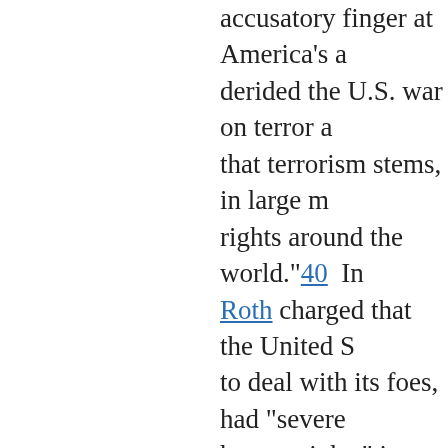accusatory finger at America's a derided the U.S. war on terror a that terrorism stems, in large m rights around the world."40  In Roth charged that the United S to deal with its foes, had "severe human rights" in other nations. Foundations awarded grants ar $6,386,477.42  Then, in Septem HRW another $100 million.43  M Central Asia Advisory Committe
As of April 2020, the Open Soci year, OSF awards scores of milli